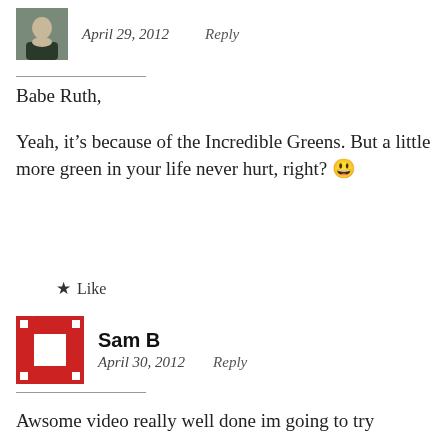[Figure (photo): Small avatar photo of a person in a suit, cropped head and shoulders]
April 29, 2012   Reply
Babe Ruth,

Yeah, it’s because of the Incredible Greens. But a little more green in your life never hurt, right? 😀
★ Like
[Figure (logo): Red decorative square avatar icon with geometric pattern for Sam B]
Sam B
April 30, 2012   Reply
Awsome video really well done im going to try